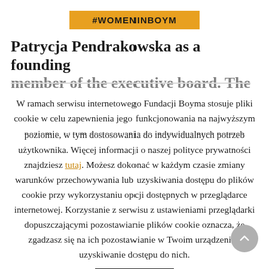#WOMENINBOYM
Patrycja Pendrakowska as a founding
W ramach serwisu internetowego Fundacji Boyma stosuje pliki cookie w celu zapewnienia jego funkcjonowania na najwyższym poziomie, w tym dostosowania do indywidualnych potrzeb użytkownika. Więcej informacji o naszej polityce prywatności znajdziesz tutaj. Możesz dokonać w każdym czasie zmiany warunków przechowywania lub uzyskiwania dostępu do plików cookie przy wykorzystaniu opcji dostępnych w przeglądarce internetowej. Korzystanie z serwisu z ustawieniami przeglądarki dopuszczającymi pozostawianie plików cookie oznacza, że zgadzasz się na ich pozostawianie w Twoim urządzeniu i uzyskiwanie dostępu do nich.
Accept